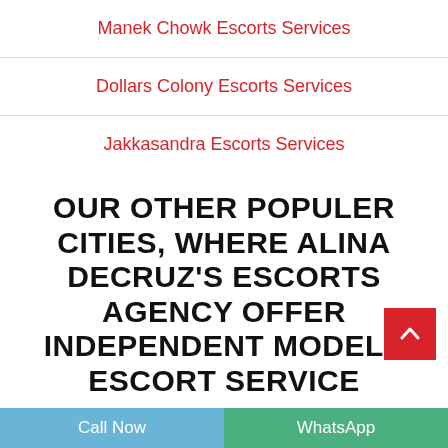Manek Chowk Escorts Services
Dollars Colony Escorts Services
Jakkasandra Escorts Services
Vasanth Nagar Escorts Services
OUR OTHER POPULER CITIES, WHERE ALINA DECRUZ'S ESCORTS AGENCY OFFER INDEPENDENT MODELS ESCORT SERVICE
Call Now | WhatsApp